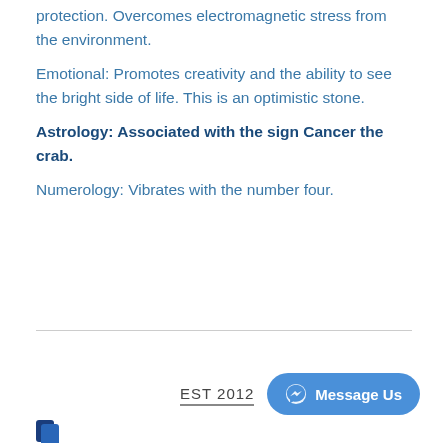protection. Overcomes electromagnetic stress from the environment.
Emotional: Promotes creativity and the ability to see the bright side of life. This is an optimistic stone.
Astrology: Associated with the sign Cancer the crab.
Numerology: Vibrates with the number four.
EST 2012
Message Us